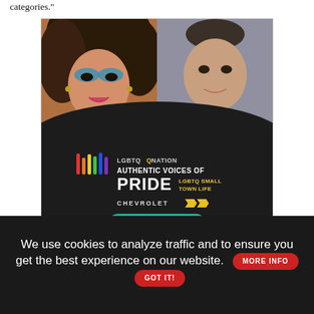categories."
[Figure (photo): Advertisement for LGBTQ Nation 'Authentic Voices of Pride: LGBTQ Small Town Life' sponsored by Chevrolet, featuring two people photos and a Learn More button]
Quarles astutely concluded by saying, "One of the potentials of art is that it allows people to position themselves within a space they
We use cookies to analyze traffic and to ensure you get the best experience on our website.  MORE INFO   GOT IT!